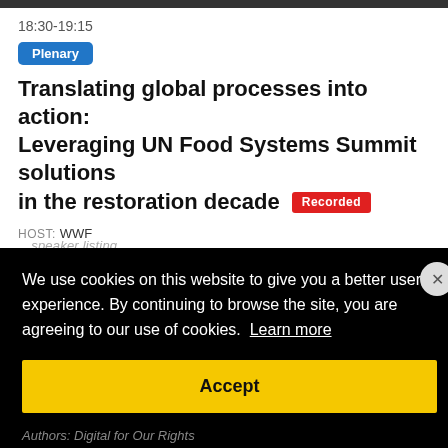18:30-19:15
Plenary
Translating global processes into action: Leveraging UN Food Systems Summit solutions in the restoration decade  Recorded
HOST: WWF
SPEAKERS:
We use cookies on this website to give you a better user experience. By continuing to browse the site, you are agreeing to our use of cookies.  Learn more
Accept